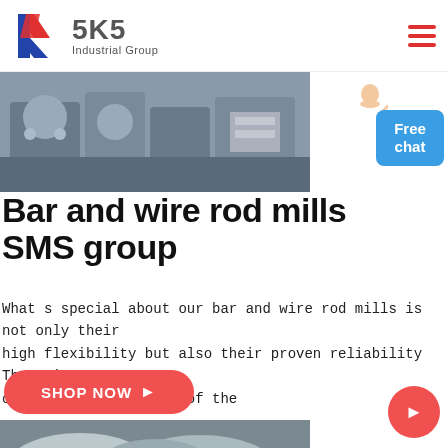[Figure (logo): SKS Industrial Group logo with red and blue K letterform and company name]
[Figure (photo): Industrial machinery parts in a factory setting — large metal components on stands]
Bar and wire rod mills SMS group
What s special about our bar and wire rod mills is not only their high flexibility but also their proven reliability There is an array of products our state of the
[Figure (photo): Large circular metal ring components — wire rod mill rings stacked in a factory]